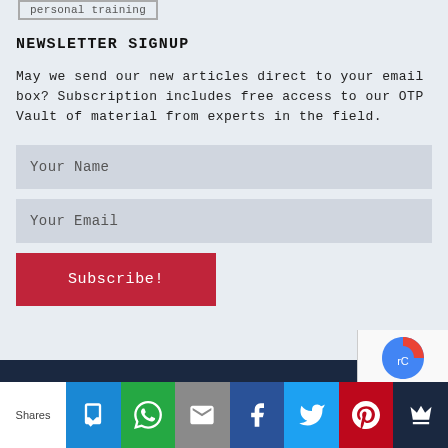personal training
NEWSLETTER SIGNUP
May we send our new articles direct to your email box? Subscription includes free access to our OTP Vault of material from experts in the field.
Your Name
Your Email
Subscribe!
Shares